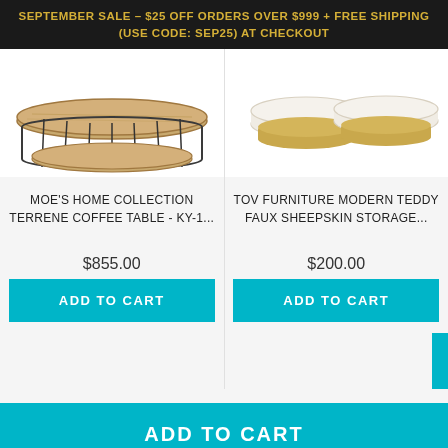SEPTEMBER SALE – $25 OFF ORDERS OVER $999 + FREE SHIPPING (USE CODE: SEP25) AT CHECKOUT
[Figure (photo): Moe's Home Collection Terrene Coffee Table - round wooden top with black metal wire cage frame]
[Figure (photo): TOV Furniture Modern Teddy Faux Sheepskin Storage - two white round ottomans with gold bases]
MOE'S HOME COLLECTION TERRENE COFFEE TABLE - KY-1...
TOV FURNITURE MODERN TEDDY FAUX SHEEPSKIN STORAGE...
$855.00
$200.00
ADD TO CART
ADD TO CART
ADD TO CART